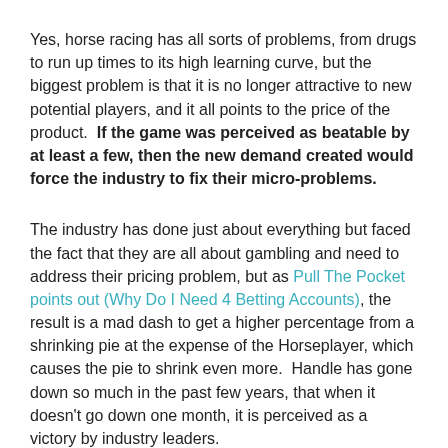Yes, horse racing has all sorts of problems, from drugs to run up times to its high learning curve, but the biggest problem is that it is no longer attractive to new potential players, and it all points to the price of the product.  If the game was perceived as beatable by at least a few, then the new demand created would force the industry to fix their micro-problems.
The industry has done just about everything but faced the fact that they are all about gambling and need to address their pricing problem, but as Pull The Pocket points out (Why Do I Need 4 Betting Accounts), the result is a mad dash to get a higher percentage from a shrinking pie at the expense of the Horseplayer, which causes the pie to shrink even more.  Handle has gone down so much in the past few years, that when it doesn't go down one month, it is perceived as a victory by industry leaders.